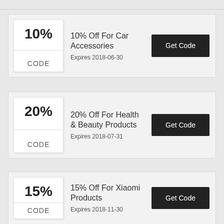[Figure (other): Partial coupon card strip at top of page (cut off)]
10% Off For Car Accessories
Expires 2018-06-30
20% Off For Health & Beauty Products
Expires 2018-07-31
15% Off For Xiaomi Products
Expires 2018-11-30